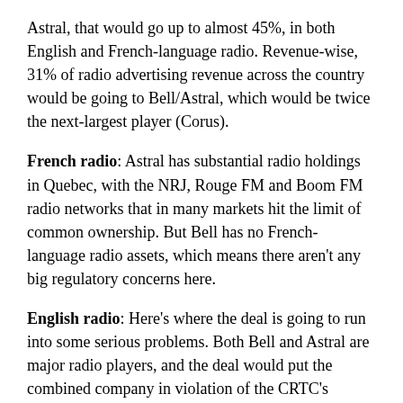Astral, that would go up to almost 45%, in both English and French-language radio. Revenue-wise, 31% of radio advertising revenue across the country would be going to Bell/Astral, which would be twice the next-largest player (Corus).
French radio: Astral has substantial radio holdings in Quebec, with the NRJ, Rouge FM and Boom FM radio networks that in many markets hit the limit of common ownership. But Bell has no French-language radio assets, which means there aren't any big regulatory concerns here.
English radio: Here's where the deal is going to run into some serious problems. Both Bell and Astral are major radio players, and the deal would put the combined company in violation of the CRTC's ownership rules set in 1998 that state only two stations in one band/language/market can be owned by the same company in a market with eight or more stations, and a maximum of three total (and no more than